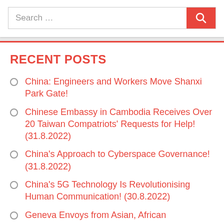[Figure (screenshot): Search bar with text 'Search ...' and a red search button with magnifying glass icon]
RECENT POSTS
China: Engineers and Workers Move Shanxi Park Gate!
Chinese Embassy in Cambodia Receives Over 20 Taiwan Compatriots' Requests for Help! (31.8.2022)
China's Approach to Cyberspace Governance! (31.8.2022)
China's 5G Technology Is Revolutionising Human Communication! (30.8.2022)
Geneva Envoys from Asian, African